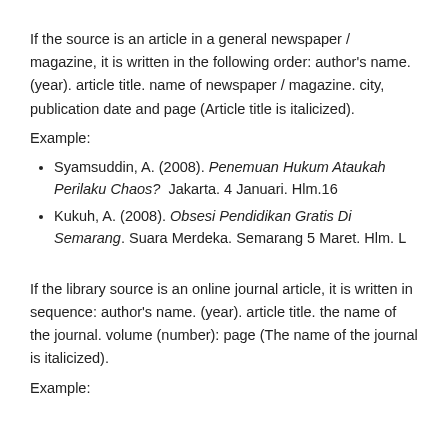If the source is an article in a general newspaper / magazine, it is written in the following order: author's name. (year). article title. name of newspaper / magazine. city, publication date and page (Article title is italicized).
Example:
Syamsuddin, A. (2008). Penemuan Hukum Ataukah Perilaku Chaos?  Jakarta. 4 Januari. Hlm.16
Kukuh, A. (2008). Obsesi Pendidikan Gratis Di Semarang. Suara Merdeka. Semarang 5 Maret. Hlm. L
If the library source is an online journal article, it is written in sequence: author's name. (year). article title. the name of the journal. volume (number): page (The name of the journal is italicized).
Example: